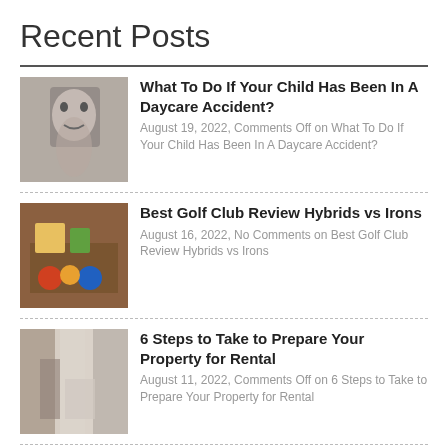Recent Posts
What To Do If Your Child Has Been In A Daycare Accident? — August 19, 2022, Comments Off on What To Do If Your Child Has Been In A Daycare Accident?
Best Golf Club Review Hybrids vs Irons — August 16, 2022, No Comments on Best Golf Club Review Hybrids vs Irons
6 Steps to Take to Prepare Your Property for Rental — August 11, 2022, Comments Off on 6 Steps to Take to Prepare Your Property for Rental
How to Improve Your Chances of Winning a Personal Injury Case — August 11, 2022, Comments Off on How to Improve Your Chances of Winning a Personal Injury Case